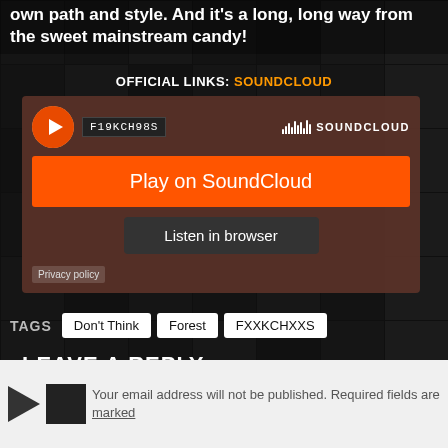own path and style. And it's a long, long way from the sweet mainstream candy!
OFFICIAL LINKS: SOUNDCLOUD
[Figure (screenshot): SoundCloud embedded player card showing F19KCH98S profile with Play on SoundCloud button and Listen in browser button, on a dark brownish-red background]
Privacy policy
TAGS  Don't Think  Forest  FXXKCHXXS
LEAVE A REPLY
Your email address will not be published. Required fields are marked